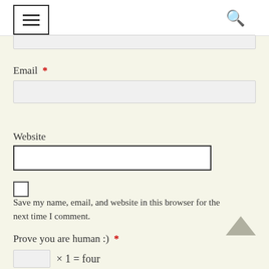☰  🔍
Email *
Website
Save my name, email, and website in this browser for the next time I comment.
Prove you are human :) *
× 1 = four